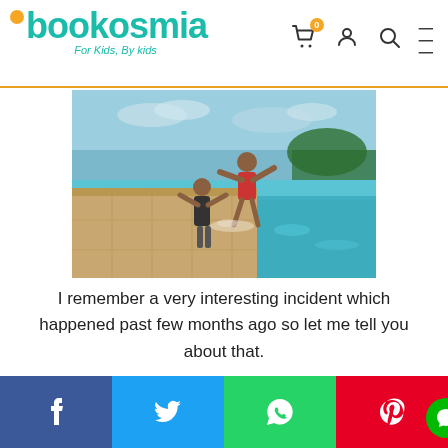[Figure (logo): Bookosmia logo with orange dot, teal lettering, tagline 'For Kids, By Kids']
[Figure (photo): Two children jumping into an infinity swimming pool with blue water and sky background]
I remember a very interesting incident which happened past few months ago so let me tell you about that.
One man came to my swimming pool centre and decided to swim in me for 24 hours. Sounds weird, right? But this is what he decided to do. He was
[Figure (infographic): Social share bar with Facebook (blue), Twitter (light blue), WhatsApp (green), Pinterest (red) and chat bubble (green) buttons]